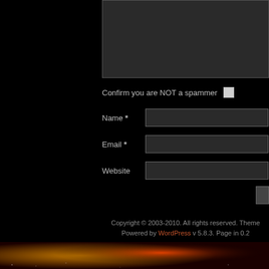[Figure (screenshot): Dark textarea input box, partially cropped, top right of page]
Confirm you are NOT a spammer
Name *
Email *
Website
Copyright © 2003-2010. All rights reserved. Theme Powered by WordPress v 5.8.3. Page in 0.2